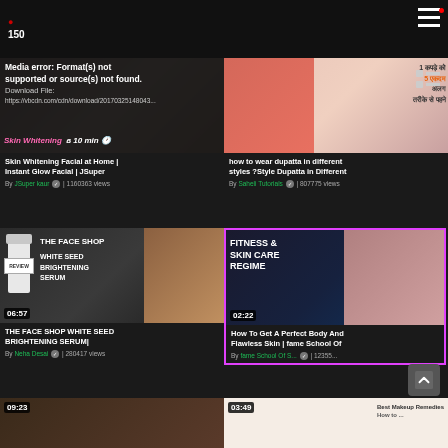[Figure (screenshot): Video listing page with thumbnails in a 2-column grid layout, dark background. Shows video cards with thumbnails, durations, titles, channel names and view counts.]
Media error: Format(s) not supported or source(s) not found. Download File: https://vbcdn.com/cdn/download/20170325148043...
Skin Whitening Facial at Home | Instant Glow Facial | JSuper
By JSuper kaur | 1160363 views
04:03 | 1 कपड़े को 5 एकदम अलग तरीके से पहने
how to wear dupatta in different styles ?Style Dupatta in Different
By Saheli Tutorials | 807775 views
06:57 | THE FACE SHOP WHITE SEED BRIGHTENING SERUM|
By Neha Desai | 280417 views
02:22 | FITNESS & SKIN CARE REGIME
How To Get A Perfect Body And Flawless Skin | fame School Of
By fame School Of S... | 12355... views
09:23
03:49